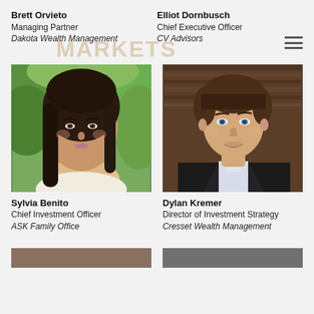Brett Orvieto
Managing Partner
Dakota Wealth Management
Elliot Dornbusch
Chief Executive Officer
CV Advisors
[Figure (photo): Professional headshot of Sylvia Benito, a woman with long dark hair, outdoors with green foliage background]
Sylvia Benito
Chief Investment Officer
ASK Family Office
[Figure (photo): Professional headshot of Dylan Kremer, a young man in a dark suit with white shirt, dark wood background]
Dylan Kremer
Director of Investment Strategy
Cresset Wealth Management
[Figure (photo): Partially visible photo at the bottom left of the page]
[Figure (photo): Partially visible photo at the bottom right of the page]